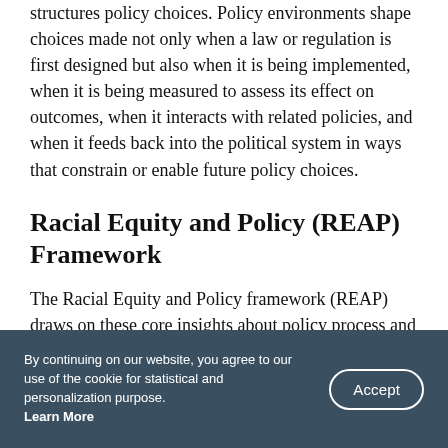structures policy choices. Policy environments shape choices made not only when a law or regulation is first designed but also when it is being implemented, when it is being measured to assess its effect on outcomes, when it interacts with related policies, and when it feeds back into the political system in ways that constrain or enable future policy choices.
Racial Equity and Policy (REAP) Framework
The Racial Equity and Policy framework (REAP) draws on these core insights about policy process and environment to present a set of questions and considerations that policymakers, analysts…
By continuing on our website, you agree to our use of the cookie for statistical and personalization purpose. Learn More